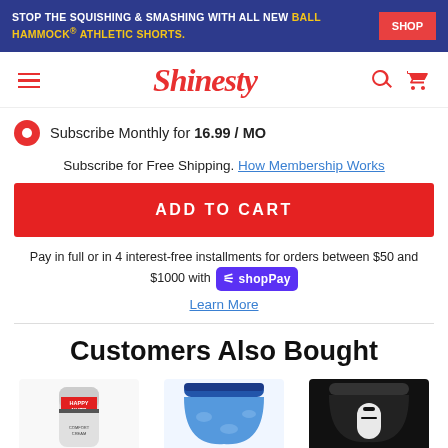STOP THE SQUISHING & SMASHING WITH ALL NEW BALL HAMMOCK® ATHLETIC SHORTS. SHOP
[Figure (logo): Shinesty logo with hamburger menu, search icon, and cart icon in navigation bar]
Subscribe Monthly for 16.99 / MO
Subscribe for Free Shipping. How Membership Works
ADD TO CART
Pay in full or in 4 interest-free installments for orders between $50 and $1000 with Shop Pay
Learn More
Customers Also Bought
[Figure (photo): Three product images: Happy Nuts Comfort Cream tube, blue patterned underwear/shorts, and black underwear with white design]